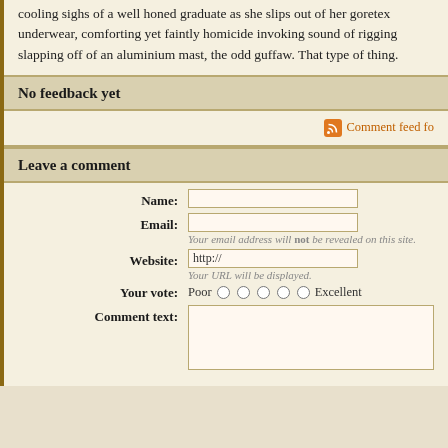cooling sighs of a well honed graduate as she slips out of her goretex underwear, comforting yet faintly homicide invoking sound of rigging slapping off of an aluminium mast, the odd guffaw. That type of thing.
No feedback yet
Comment feed fo
Leave a comment
Name:
Email:
Your email address will not be revealed on this site.
Website:
Your URL will be displayed.
Your vote: Poor Excellent
Comment text: